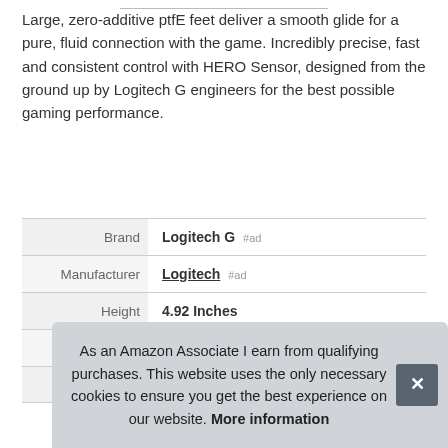Large, zero-additive ptfE feet deliver a smooth glide for a pure, fluid connection with the game. Incredibly precise, fast and consistent control with HERO Sensor, designed from the ground up by Logitech G engineers for the best possible gaming performance.
|  |  |
| --- | --- |
| Brand | Logitech G #ad |
| Manufacturer | Logitech #ad |
| Height | 4.92 Inches |
| Length | 1.57 Inches |
| P |  |
As an Amazon Associate I earn from qualifying purchases. This website uses the only necessary cookies to ensure you get the best experience on our website. More information